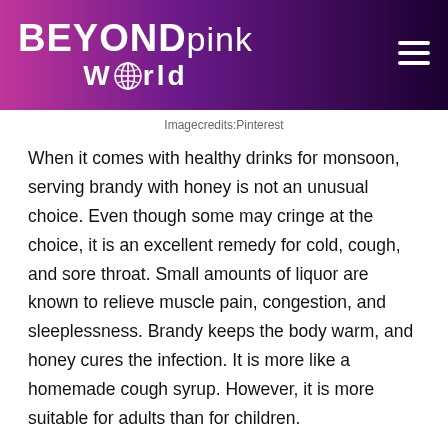[Figure (logo): BEYONDpink World logo on dark purple-to-pink gradient header background with hamburger menu icon on the right]
Imagecredits:Pinterest
When it comes with healthy drinks for monsoon, serving brandy with honey is not an unusual choice. Even though some may cringe at the choice, it is an excellent remedy for cold, cough, and sore throat. Small amounts of liquor are known to relieve muscle pain, congestion, and sleeplessness. Brandy keeps the body warm, and honey cures the infection. It is more like a homemade cough syrup. However, it is more suitable for adults than for children.
10. Affogato